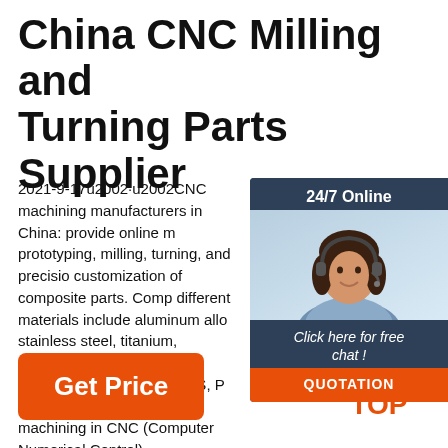China CNC Milling and Turning Parts Supplier
2021-9-17u2002·u2002CNC machining manufacturers in China: provide online prototyping, milling, turning, and precision customization of composite parts. Comp different materials include aluminum allo stainless steel, titanium, magnesium, iro plastics, bakelite, POM, UHWM, ABS, P PP, PA, BT, PVC, etc. CNC machining in CNC (Computer Numerical Control) ...
[Figure (other): Chat widget with woman wearing headset, labeled '24/7 Online', 'Click here for free chat!', and 'QUOTATION' button in orange]
[Figure (logo): TOP logo with orange dots forming a triangle above the text TOP]
Get Price